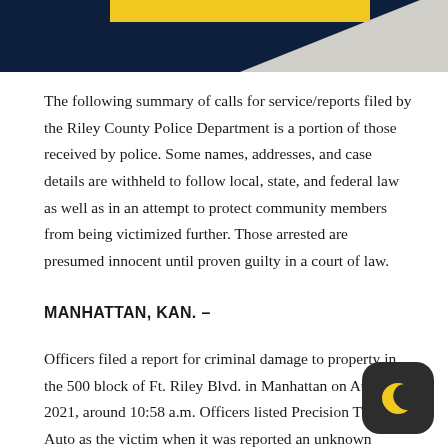[Figure (illustration): Header banner image with dark navy blue triangle on the left and yellow/gold bar, with a light gray background visible on the right side.]
The following summary of calls for service/reports filed by the Riley County Police Department is a portion of those received by police. Some names, addresses, and case details are withheld to follow local, state, and federal law as well as in an attempt to protect community members from being victimized further. Those arrested are presumed innocent until proven guilty in a court of law.
MANHATTAN, KAN. –
Officers filed a report for criminal damage to property in the 500 block of Ft. Riley Blvd. in Manhattan on August 2021, around 10:58 a.m. Officers listed Precision Ti— Auto as the victim when it was reported an unknown